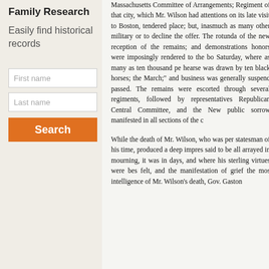Family Research
Easily find historical records
First name
Last name
Search
Massachusetts Committee of Arrangements; Regiment of that city, which Mr. Wilson had attentions on its late visit to Boston, tendered place; but, inasmuch as many other military or to decline the offer. The rotunda of the new reception of the remains; and demonstrations honors were imposingly rendered to the bo Saturday, where as many as ten thousand pe hearse was drawn by ten black horses; the March;" and business was generally suspend passed. The remains were escorted through several regiments, followed by representatives Republican Central Committee, and the New public sorrow manifested in all sections of the c
While the death of Mr. Wilson, who was per statesman of his time, produced a deep impres said to be all arrayed in mourning, it was in days, and where his sterling virtues were bes felt, and the manifestation of grief the mos intelligence of Mr. Wilson's death, Gov. Gaston
[Figure (advertisement): MAC cosmetics advertisement showing lipsticks in purple, pink, and red colors with MAC logo and SHOP NOW button]